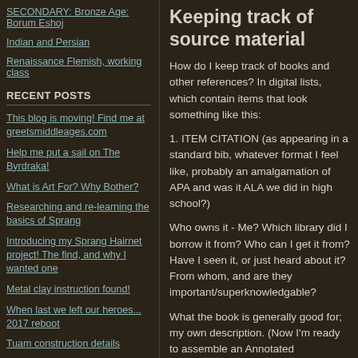SECONDARY: Bronze Age: Borum Eshoj
Indian and Persian
Renaissance Flemish, working class
RECENT POSTS
This blog is moving! Find me at greetsmiddleages.com
Help me put a sail on The Byrdraka!
What is Art For? Why Bother?
Researching and re-learning the basics of Sprang
Introducing my Sprang Hairnet project! The find, and why I wanted one
Metal clay instruction found!
When last we left our heroes... 2017 reboot
Tuam construction details
Craft materials are not groceries.
Keeping track of source material
How do I keep track of books and other references?  In digital lists, which contain items that look something like this:
1.  ITEM CITATION (as appearing in a standard bib, whatever format I feel like, probably an amalgamation of APA and was it ALA we did in high school?)
Who owns it -  Me?  Which library did I borrow it from?  Who can I get it from?  Have I seen it, or just heard about it?  From whom, and are they important/superknowledgable?
What the book is generally good for; my own description.  (Now I'm ready to assemble an Annotated Bibliography, which if I ever encounter one in other people's